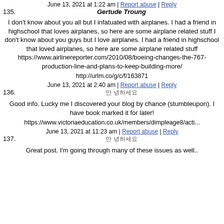June 13, 2021 at 1:22 am | Report abuse | Reply
135. Gertude Troung
I don't know about you all but I infatuated with airplanes. I had a friend in highschool that loves airplanes, so here are some airplane related stuff I don't know about you guys but I love airplanes. I had a friend in highschool that loved airplanes, so here are some airplane related stuff https://www.airlinereporter.com/2010/08/boeing-changes-the-767-production-line-and-plans-to-keep-building-more/
http://urlm.co/g/c/f/163871
June 13, 2021 at 2:40 am | Report abuse | Reply
136. [korean characters]
Good info. Lucky me I discovered your blog by chance (stumbleupon). I have book marked it for later!
https://www.victoriaeducation.co.uk/members/dimpleage8/acti...
June 13, 2021 at 11:23 am | Report abuse | Reply
137. [korean characters]
Great post. I'm going through many of these issues as well..